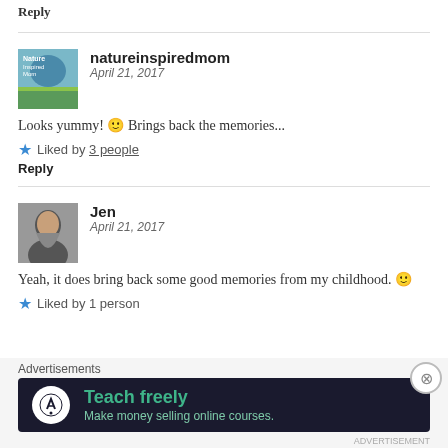Reply
natureinspiredmom
April 21, 2017
Looks yummy! 🙂 Brings back the memories...
Liked by 3 people
Reply
Jen
April 21, 2017
Yeah, it does bring back some good memories from my childhood. 🙂
Liked by 1 person
Advertisements
[Figure (other): Advertisement banner: dark background with round logo icon and text 'Teach freely - Make money selling online courses.']